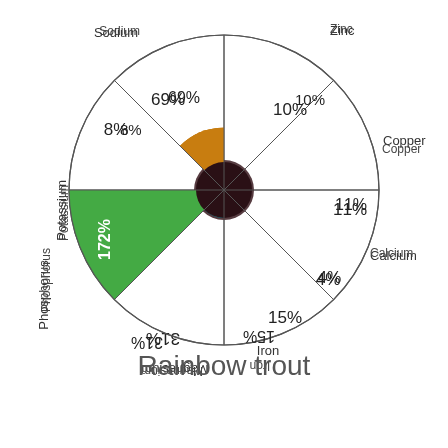[Figure (radar-chart): Rainbow trout]
Rainbow trout